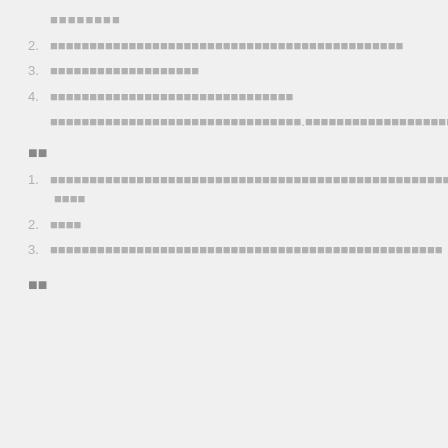■■■■■■■■
2. ■■■■■■■■■■■■■■■■■■■■■■■■■■■■■■■■■■■■■■■■■■■■
3. ■■■■■■■■■■■■■■■■■■■
4. ■■■■■■■■■■■■■■■■■■■■■■■■■■■■■■■
■■■■■■■■■■■■■■■■■■■■■■■■■■■■■■■■.■■■■■■■■■■■■■■■■■■■■■■■■■■■■■■■■■■■■■■■■■■■■■■■■■■■■■■■■■■■■■■■■■■■■■■■■■■■■■■■■■■■■■■■■■■■■■■■■■■■■■■■■■■■■■■■■■■■■■■■■■■■■■■■■■■■■■■■■■■■■■■■■■■■■■■■■■■■■■■■
■■
1. ■■■■■■■■■■■■■■■■■■■■■■■■■■■■■■■■■■■■■■■■■■■■■■■■■■■■■■■■■■■■■■■■■■■■■■■■■■■■■■■■■■■■■■■■ ■■■■
2. ■■■■
3. ■■■■■■■■■■■■■■■■■■■■■■■■■■■■■■■■■■■■■■■■■■■■■■■■■■
■■